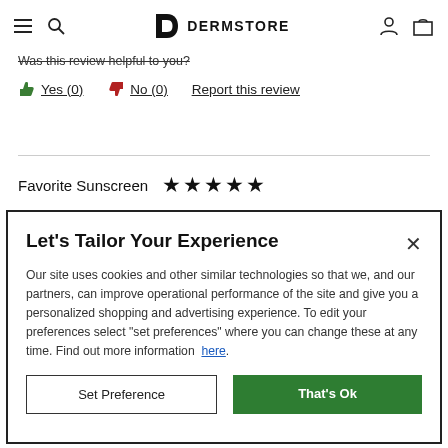Dermstore (navigation header with hamburger, search, logo, user, cart icons)
Was this review helpful to you?
👍 Yes (0)   👎 No (0)   Report this review
Favorite Sunscreen ★★★★★
Let's Tailor Your Experience
Our site uses cookies and other similar technologies so that we, and our partners, can improve operational performance of the site and give you a personalized shopping and advertising experience. To edit your preferences select "set preferences" where you can change these at any time. Find out more information here.
Set Preference
That's Ok